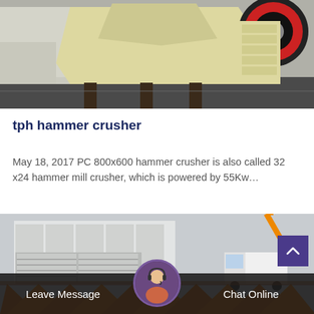[Figure (photo): Photo of large yellow industrial jaw crusher machine on outdoor ground with dark pavement]
tph hammer crusher
May 18, 2017 PC 800x600 hammer crusher is also called 32 x24 hammer mill crusher, which is powered by 55Kw…
[Figure (photo): Photo of orange industrial hammer crushers or vibrating feeders lined up at an outdoor facility with a white truck and crane in background]
Leave Message
Chat Online